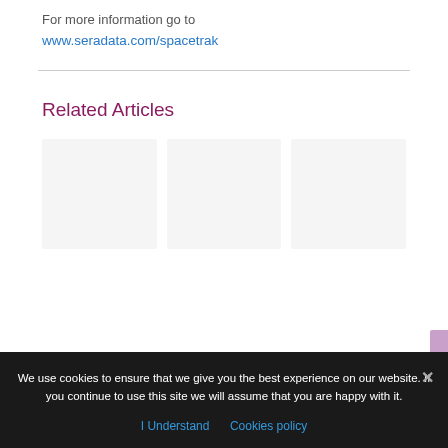For more information go to
www.seradata.com/spacetrak
Related Articles
We use cookies to ensure that we give you the best experience on our website. If you continue to use this site we will assume that you are happy with it.
I Understand   Cookies policy